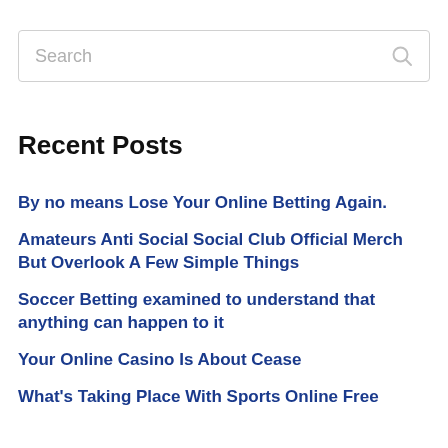Search
Recent Posts
By no means Lose Your Online Betting Again.
Amateurs Anti Social Social Club Official Merch But Overlook A Few Simple Things
Soccer Betting examined to understand that anything can happen to it
Your Online Casino Is About Cease
What's Taking Place With Sports Online Free